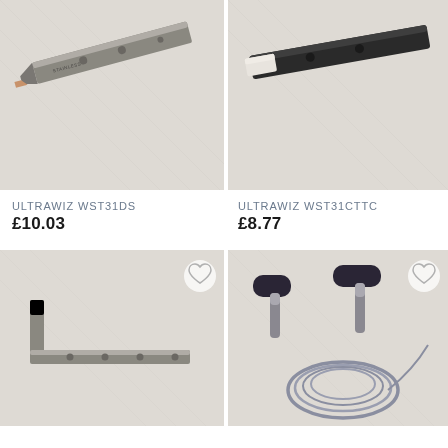[Figure (photo): Close-up photo of a stainless steel windscreen removal tool / blade - ULTRAWIZ WST31DS]
[Figure (photo): Close-up photo of a black-handled windscreen tool with white tip - ULTRAWIZ WST31CTTC]
ULTRAWIZ WST31DS
£10.03
ULTRAWIZ WST31CTTC
£8.77
[Figure (photo): Photo of a bent/L-shaped stainless steel windscreen removal tool with holes]
[Figure (photo): Photo of a windscreen wire tool set with T-bar handles and wire coil]